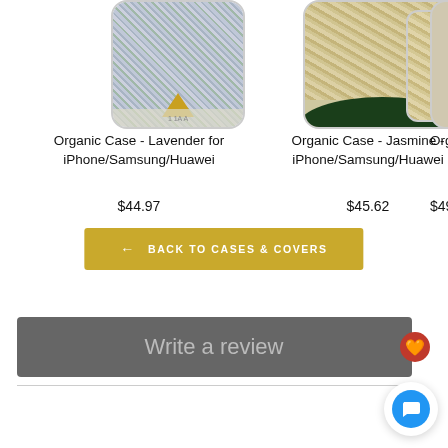[Figure (photo): Product image of Organic Case - Lavender for iPhone/Samsung/Huawei, showing a phone case with lavender/blue speckled texture and yellow triangle accent]
Organic Case - Lavender for iPhone/Samsung/Huawei
$44.97
[Figure (photo): Product image of Organic Case - Jasmine for iPhone/Samsung/Huawei, showing phone cases with sandy/jasmine texture and dark leaf, yellow triangle accent]
Organic Case - Jasmine - iPhone/Samsung/Huawei
$45.62
[Figure (photo): Partially visible product image of Organic Case for iPhone/Samsung (cropped on right edge)]
Organic Cas- fo iPhone/Sams
$49
← BACK TO CASES & COVERS
Write a review